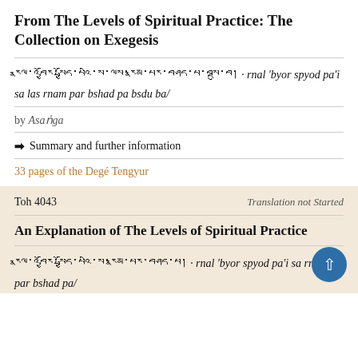From The Levels of Spiritual Practice: The Collection on Exegesis
རྣལ་འབྱོར་སྤྱོད་པའི་ས་ལས་རྣམ་པར་བཤད་པ་བསྡུ་བ། · rnal 'byor spyod pa'i sa las rnam par bshad pa bsdu ba/
by Asaṅga
❯ Summary and further information
33 pages of the Degé Tengyur
Toh 4043    Translation not Started
An Explanation of The Levels of Spiritual Practice
རྣལ་འབྱོར་སྤྱོད་པའི་ས་རྣམ་པར་བཤད་པ། · rnal 'byor spyod pa'i sa rnam par bshad pa/